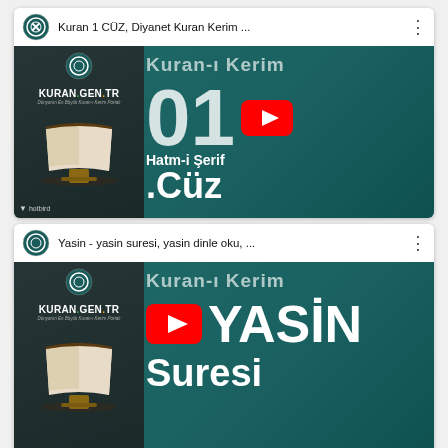[Figure (screenshot): YouTube video thumbnail for 'Kuran 1 CÜZ, Diyanet Kuran Kerim ...' showing KuranGenTR branding, a Quran book image, and large text '01. Cüz', 'Hatm-i Şerif', 'Kuran-ı Kerim' with YouTube play button on teal background]
[Figure (screenshot): YouTube video thumbnail for 'Yasin - yasin suresi, yasin dinle oku, ...' showing KuranGenTR branding, a Quran book image, and large text 'YASİN', 'Suresi', 'Kuran-ı Kerim' with YouTube play button on teal background]